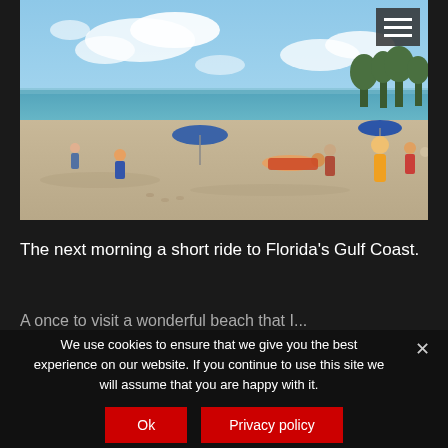[Figure (photo): Beach scene at Florida's Gulf Coast. People lounging on sandy beach with blue umbrellas, ocean water visible in background, partly cloudy sky.]
The next morning a short ride to Florida's Gulf Coast.
A once to visit a wonderful beach that I...
We use cookies to ensure that we give you the best experience on our website. If you continue to use this site we will assume that you are happy with it.
Ok
Privacy policy